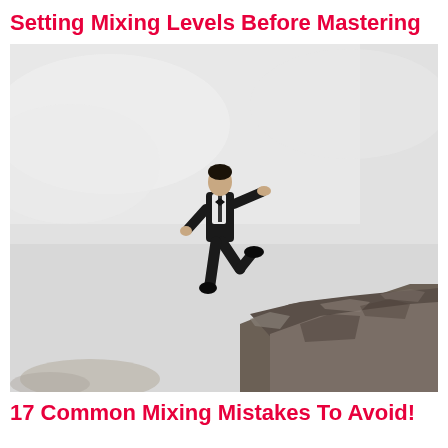Setting Mixing Levels Before Mastering
[Figure (photo): Black and white photo of a man in a suit jumping off a rocky cliff edge, arms and legs outstretched, against a light sky background.]
17 Common Mixing Mistakes To Avoid!